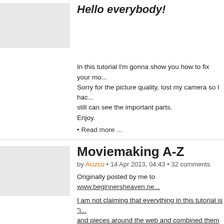Hello everybody!
[Figure (photo): Gray placeholder thumbnail image]
In this tutorial I'm gonna show you how to fix your mo... Sorry for the picture quality, lost my camera so I had... still can see the important parts.
Enjoy.
• Read more ...
Moviemaking A-Z
by Acizco • 14 Apr 2013, 04:43 • 32 comments
[Figure (photo): Gray placeholder thumbnail image]
Originally posted by me to www.beginnersheaven.ne...
I am not claiming that everything in this tutorial is "i... and pieces around the web and combined them into...
I have been asked a lot on how I make my movies a... decided why not to share my wisdom with everyone.